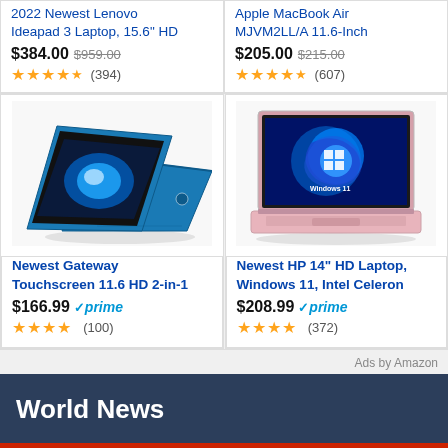2022 Newest Lenovo Ideapad 3 Laptop, 15.6" HD
$384.00 $959.00 ★★★★½ (394)
Apple MacBook Air MJVM2LL/A 11.6-Inch
$205.00 $215.00 ★★★★½ (607)
[Figure (photo): Blue HP Touchscreen 11.6 HD 2-in-1 laptop in tent mode]
Newest Gateway Touchscreen 11.6 HD 2-in-1
$166.99 prime ★★★★ (100)
[Figure (photo): Pink HP 14 inch laptop with Windows 11 on screen]
Newest HP 14" HD Laptop, Windows 11, Intel Celeron
$208.99 prime ★★★★ (372)
Ads by Amazon
World News